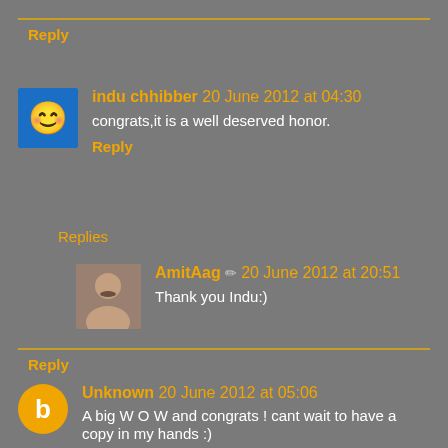Reply
indu chhibber 20 June 2012 at 04:30
congrats,it is a well deserved honor.
Reply
Replies
AmitAag 20 June 2012 at 20:51
Thank you Indu:)
Reply
Unknown 20 June 2012 at 05:06
A big W O W and congrats ! cant wait to have a copy in my hands :)